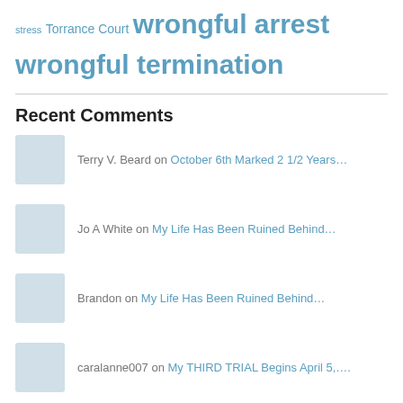stress Torrance Court wrongful arrest wrongful termination
Recent Comments
Terry V. Beard on October 6th Marked 2 1/2 Years…
Jo A White on My Life Has Been Ruined Behind…
Brandon on My Life Has Been Ruined Behind…
caralanne007 on My THIRD TRIAL Begins April 5,….
caralanne007 on My Life Has Been Ruined Behind…